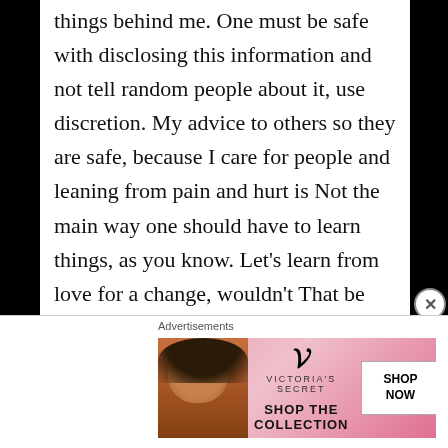things behind me. One must be safe with disclosing this information and not tell random people about it, use discretion. My advice to others so they are safe, because I care for people and leaning from pain and hurt is Not the main way one should have to learn things, as you know. Let's learn from love for a change, wouldn't That be nice!
Main reason for using discretion, -say if you are in public and talking to people you don't know- is that everything is being recorded, as I know it, and we also are recording all our
[Figure (other): Victoria's Secret advertisement banner with model photo on left, VS logo and 'SHOP THE COLLECTION' text in center, and 'SHOP NOW' button on right, on a pink gradient background.]